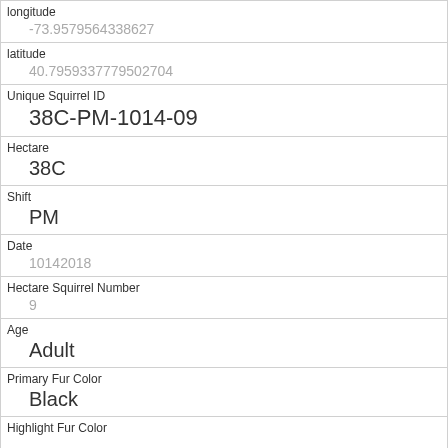| Field | Value |
| --- | --- |
| longitude | -73.9579564338627 |
| latitude | 40.7959337779502704 |
| Unique Squirrel ID | 38C-PM-1014-09 |
| Hectare | 38C |
| Shift | PM |
| Date | 10142018 |
| Hectare Squirrel Number | 9 |
| Age | Adult |
| Primary Fur Color | Black |
| Highlight Fur Color |  |
| Combination of Primary and Highlight Color |  |